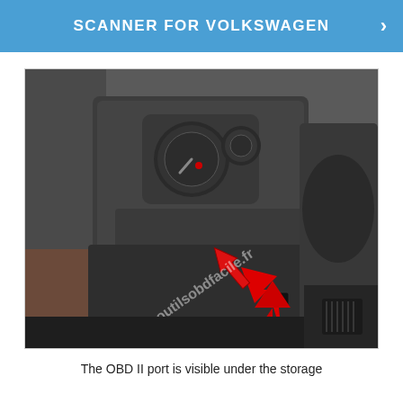SCANNER FOR VOLKSWAGEN
[Figure (photo): Interior photo of a Volkswagen vehicle showing the dashboard area near the steering column. A red arrow points upward toward an OBD II port located under a storage area. The image has a watermark reading www.outilsobdfacile.fr]
The OBD II port is visible under the storage